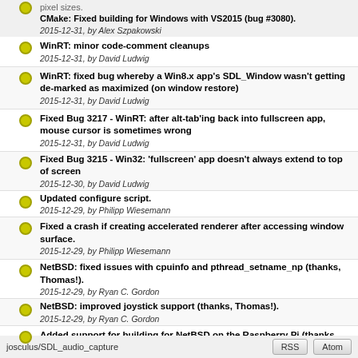pixel sizes.
CMake: Fixed building for Windows with VS2015 (bug #3080).
2015-12-31, by Alex Szpakowski
WinRT: minor code-comment cleanups
2015-12-31, by David Ludwig
WinRT: fixed bug whereby a Win8.x app's SDL_Window wasn't getting de-marked as maximized (on window restore)
2015-12-31, by David Ludwig
Fixed Bug 3217 - WinRT: after alt-tab'ing back into fullscreen app, mouse cursor is sometimes wrong
2015-12-31, by David Ludwig
Fixed Bug 3215 - Win32: 'fullscreen' app doesn't always extend to top of screen
2015-12-30, by David Ludwig
Updated configure script.
2015-12-29, by Philipp Wiesemann
Fixed a crash if creating accelerated renderer after accessing window surface.
2015-12-29, by Philipp Wiesemann
NetBSD: fixed issues with cpuinfo and pthread_setname_np (thanks, Thomas!).
2015-12-29, by Ryan C. Gordon
NetBSD: improved joystick support (thanks, Thomas!).
2015-12-29, by Ryan C. Gordon
Added support for building for NetBSD on the Raspberry Pi (thanks, Jared!).
2015-12-29, by Ryan C. Gordon
Loading...
less more | (0) -10000 -3000 -1000 -300 -100 -60 +60 +100 tip
jocculus/SDL_audio_capture  RSS  Atom